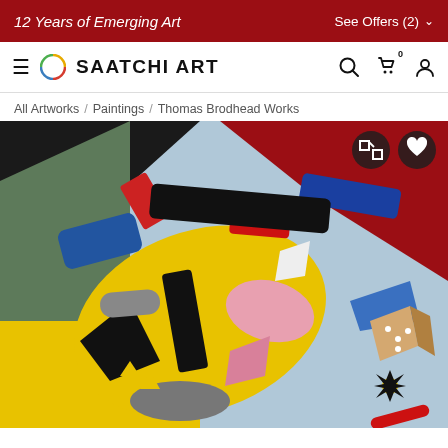12 Years of Emerging Art    See Offers (2) ∨
[Figure (logo): Saatchi Art navigation bar with hamburger menu, circular multicolor logo, SAATCHI ART text, search icon, cart icon, and user icon]
All Artworks / Paintings / Thomas Brodhead Works
[Figure (photo): Abstract colorful painting by Thomas Brodhead featuring geometric and figurative shapes in blue, yellow, red, black, white, gray, and green on a bold background. Expand and favorite (heart) overlay buttons visible in top-right corner.]